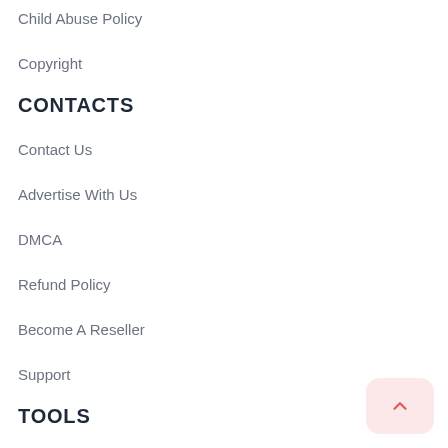Child Abuse Policy
Copyright
CONTACTS
Contact Us
Advertise With Us
DMCA
Refund Policy
Become A Reseller
Support
TOOLS